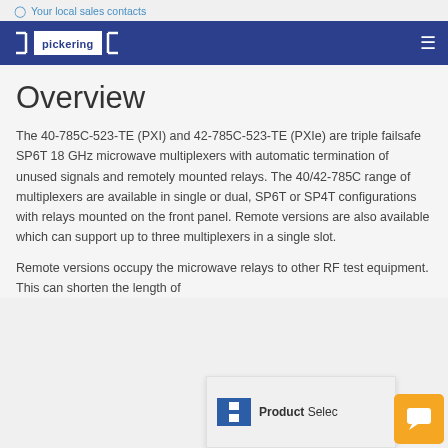Your local sales contacts
[Figure (logo): Pickering Electronics logo in white on dark blue navigation bar]
Overview
The 40-785C-523-TE (PXI) and 42-785C-523-TE (PXIe) are triple failsafe SP6T 18 GHz microwave multiplexers with automatic termination of unused signals and remotely mounted relays. The 40/42-785C range of multiplexers are available in single or dual, SP6T or SP4T configurations with relays mounted on the front panel. Remote versions are also available which can support up to three multiplexers in a single slot.
Remote versions occupy the microwave relays to other RF test equipment. This can shorten the length of
[Figure (logo): Product Selector tool overlay with blue SS logo icon and Product Selec(tor) text, partially visible]